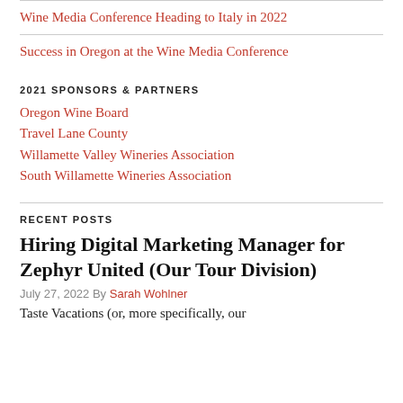Wine Media Conference Heading to Italy in 2022
Success in Oregon at the Wine Media Conference
2021 SPONSORS & PARTNERS
Oregon Wine Board
Travel Lane County
Willamette Valley Wineries Association
South Willamette Wineries Association
RECENT POSTS
Hiring Digital Marketing Manager for Zephyr United (Our Tour Division)
July 27, 2022 By Sarah Wohlner
Taste Vacations (or, more specifically, our